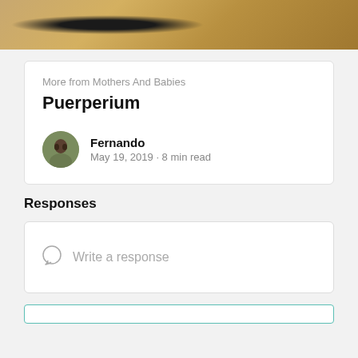[Figure (photo): Top portion of a photo showing a person in a dark shirt with crossed arms, against a background of golden wheat or tall dry grass]
More from Mothers And Babies
Puerperium
[Figure (photo): Small circular avatar photo of Fernando]
Fernando
May 19, 2019 · 8 min read
Responses
Write a response